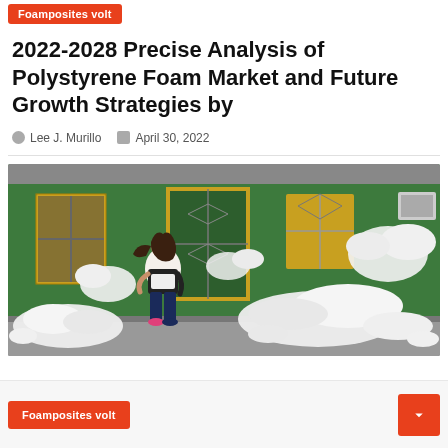Foamposites volt
2022-2028 Precise Analysis of Polystyrene Foam Market and Future Growth Strategies by
Lee J. Murillo   April 30, 2022
[Figure (photo): A woman running on a street in front of a green and yellow building, with large white foam/polystyrene chunks scattered across the sidewalk and street around her.]
Foamposites volt